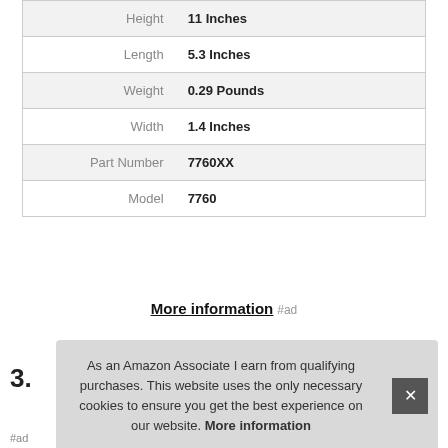| Height | 11 Inches |
| Length | 5.3 Inches |
| Weight | 0.29 Pounds |
| Width | 1.4 Inches |
| Part Number | 7760XX |
| Model | 7760 |
More information #ad
3.
As an Amazon Associate I earn from qualifying purchases. This website uses the only necessary cookies to ensure you get the best experience on our website. More information
#ad